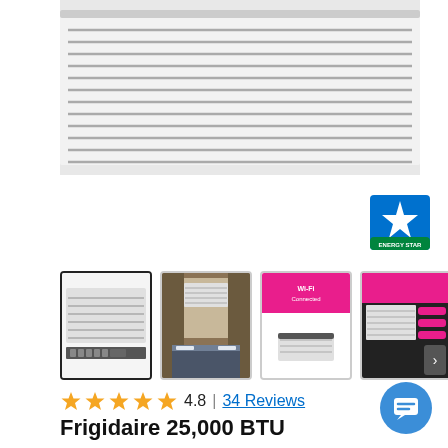[Figure (photo): Close-up front view of a white Frigidaire window air conditioner unit showing horizontal vents/grilles]
[Figure (logo): Energy Star certification badge in blue and green]
[Figure (photo): Four product thumbnail images: front view of AC unit (selected/active), AC unit installed in bedroom window, Wi-Fi Connected marketing graphic, and features graphic]
4.8  |  34 Reviews
Frigidaire 25,000 BTU